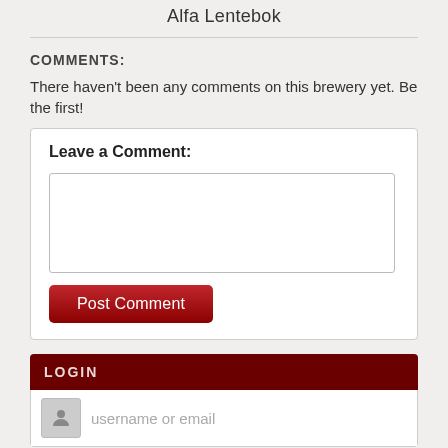Alfa Lentebok
COMMENTS:
There haven't been any comments on this brewery yet. Be the first!
Leave a Comment:
LOGIN
username or email